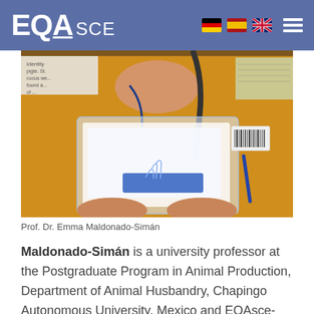EQA SCE
[Figure (photo): Prof. Dr. Emma Maldonado-Simán holding a transparent plastic folder with papers inside, wearing a yellow plaid jacket and a lanyard, at what appears to be a conference or academic event.]
Prof. Dr. Emma Maldonado-Simán
Maldonado-Simán is a university professor at the Postgraduate Program in Animal Production, Department of Animal Husbandry, Chapingo Autonomous University, Mexico and EQAsce-member. Her academic and research interests focus on Safety